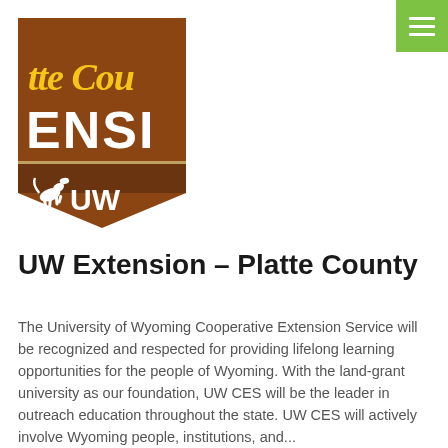[Figure (logo): UW Extension Platte County logo — brown shield/bookmark shape with yellow cursive text 'tte Cou' at top, white block letters 'ENSI' in middle, and UW with bucking horse icon at bottom on dark brown background]
UW Extension – Platte County
The University of Wyoming Cooperative Extension Service will be recognized and respected for providing lifelong learning opportunities for the people of Wyoming. With the land-grant university as our foundation, UW CES will be the leader in outreach education throughout the state. UW CES will actively involve Wyoming people, institutions, and...